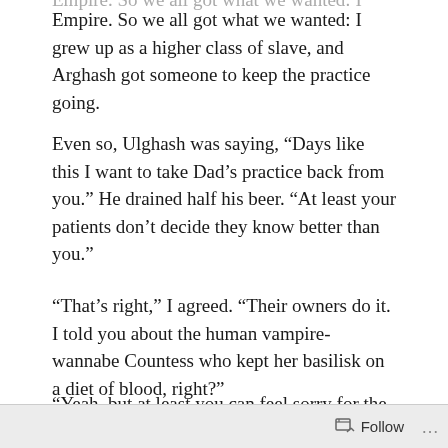Empire. So we all got what we wanted: I grew up as a higher class of slave, and Arghash got someone to keep the practice going.
Even so, Ulghash was saying, “Days like this I want to take Dad’s practice back from you.” He drained half his beer. “At least your patients don’t decide they know better than you.”
“That’s right,” I agreed. “Their owners do it. I told you about the human vampire-wannabe Countess who kept her basilisk on a diet of blood, right?”
“Yeah, but at least you can feel sorry for the basilisk.” Ulghash held his head in his hands. “I’m treating a clan
Follow  …